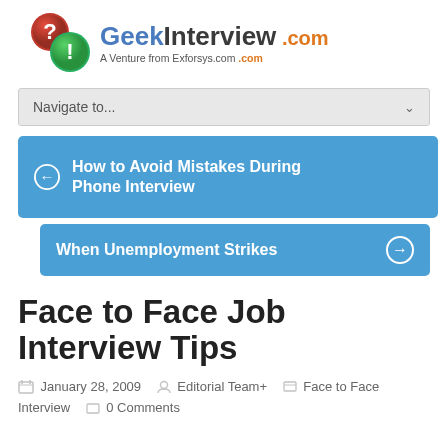GeekInterview.com — A Venture from Exforsys.com .com
[Figure (screenshot): Navigate to... dropdown navigation bar]
[Figure (screenshot): Previous navigation button: How to Avoid Mistakes During Phone Interview]
[Figure (screenshot): Next navigation button: When Unemployment Strikes]
Face to Face Job Interview Tips
January 28, 2009   Editorial Team+   Face to Face Interview   0 Comments